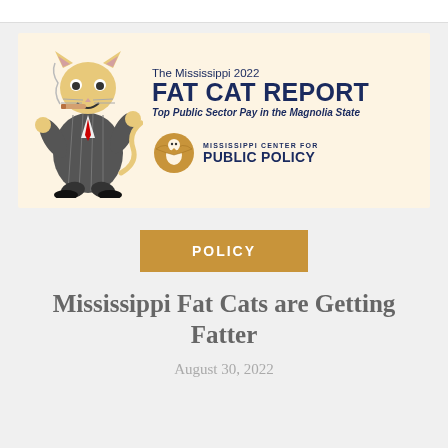[Figure (illustration): The Mississippi 2022 Fat Cat Report cover image. A cartoon fat cat character dressed in a pinstripe suit smoking a cigar, alongside the text: 'The Mississippi 2022 FAT CAT REPORT – Top Public Sector Pay in the Magnolia State' and the Mississippi Center for Public Policy logo with a golden eagle emblem.]
POLICY
Mississippi Fat Cats are Getting Fatter
August 30, 2022